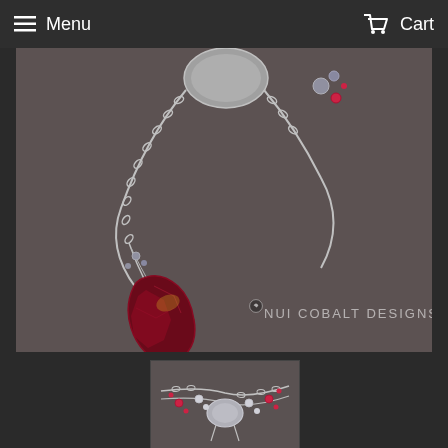Menu   Cart
[Figure (photo): Close-up macro photo of a jewelry necklace on a dark grey background. Features a silver chain, a faceted dark red/garnet briolette pendant hanging from a wire wrap, small grey and pink beads, and a mother-of-pearl or coin pearl element. Watermark reads 'NUI COBALT DESIGNS' with a small bird logo in the lower right.]
[Figure (photo): Thumbnail photo of the same jewelry necklace showing the full necklace layout with silver chain, coin pearl, small pink/red garnet beads, and white pearl accents on a dark grey background.]